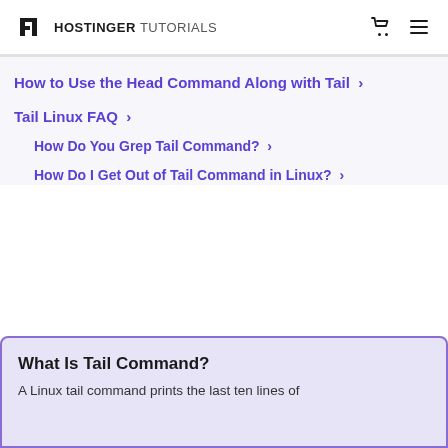HOSTINGER TUTORIALS
How to Use the Head Command Along with Tail >
Tail Linux FAQ >
How Do You Grep Tail Command? >
How Do I Get Out of Tail Command in Linux? >
What Is Tail Command?
A Linux tail command prints the last ten lines of